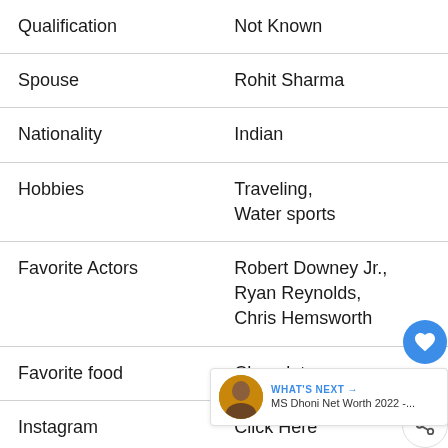| Field | Value |
| --- | --- |
| Qualification | Not Known |
| Spouse | Rohit Sharma |
| Nationality | Indian |
| Hobbies | Traveling, Water sports |
| Favorite Actors | Robert Downey Jr., Ryan Reynolds, Chris Hemsworth |
| Favorite food | Chocolate |
| Instagram | Click Here |